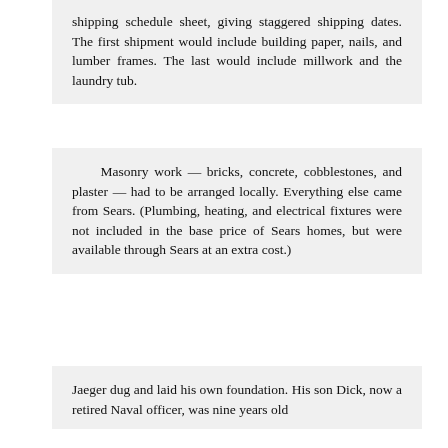shipping schedule sheet, giving staggered shipping dates. The first shipment would include building paper, nails, and lumber frames. The last would include millwork and the laundry tub.
Masonry work — bricks, concrete, cobblestones, and plaster — had to be arranged locally. Everything else came from Sears. (Plumbing, heating, and electrical fixtures were not included in the base price of Sears homes, but were available through Sears at an extra cost.)
Jaeger dug and laid his own foundation. His son Dick, now a retired Naval officer, was nine years old